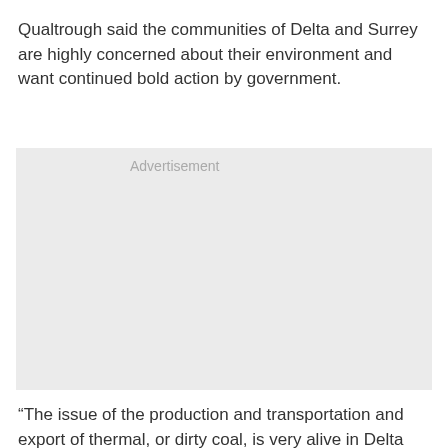Qualtrough said the communities of Delta and Surrey are highly concerned about their environment and want continued bold action by government.
[Figure (other): Advertisement placeholder box with light gray background and 'Advertisement' label text]
“The issue of the production and transportation and export of thermal, or dirty coal, is very alive in Delta